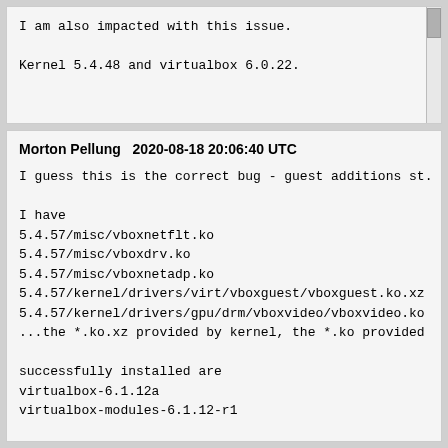I am also impacted with this issue.

Kernel 5.4.48 and virtualbox 6.0.22.
Morton Pellung   2020-08-18 20:06:40 UTC
I guess this is the correct bug - guest additions st.

I have
5.4.57/misc/vboxnetflt.ko
5.4.57/misc/vboxdrv.ko
5.4.57/misc/vboxnetadp.ko
5.4.57/kernel/drivers/virt/vboxguest/vboxguest.ko.xz
5.4.57/kernel/drivers/gpu/drm/vboxvideo/vboxvideo.ko
...the *.ko.xz provided by kernel, the *.ko provided

successfully installed are
virtualbox-6.1.12a
virtualbox-modules-6.1.12-r1

now trying to install virtualbox-guest-additions-6.1

1) depends on x11-drivers/xf86-video-vboxvideo-1.0.0
is already provided by kernel? Ok, don't install tha

2) trys to build vboxvideo and fails with:
ERROR: "drm_gem_prime_export" [/var/tmp/portage/app-
additions-6.1.12a-r1/work/VirtualBox-